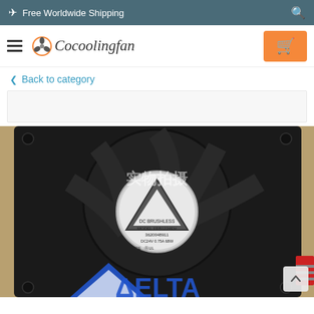✈ Free Worldwide Shipping
[Figure (logo): Cocoolingfan logo with orange fan icon and italic text]
Back to category
[Figure (photo): Delta DC Brushless fan model FFB1224EH 3620048911, DC24V cooling fan with Delta logo watermark overlay and Chinese watermark text 实物拍摄]